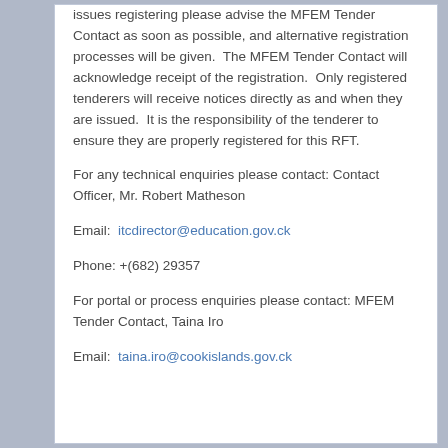issues registering please advise the MFEM Tender Contact as soon as possible, and alternative registration processes will be given.  The MFEM Tender Contact will acknowledge receipt of the registration.  Only registered tenderers will receive notices directly as and when they are issued.  It is the responsibility of the tenderer to ensure they are properly registered for this RFT.
For any technical enquiries please contact: Contact Officer, Mr. Robert Matheson
Email:  itcdirector@education.gov.ck
Phone: +(682) 29357
For portal or process enquiries please contact: MFEM Tender Contact, Taina Iro
Email:  taina.iro@cookislands.gov.ck